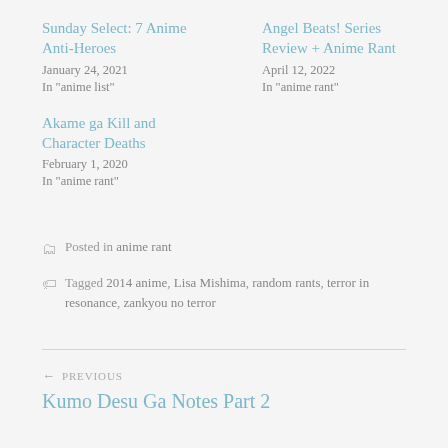Sunday Select: 7 Anime Anti-Heroes
January 24, 2021
In "anime list"
Angel Beats! Series Review + Anime Rant
April 12, 2022
In "anime rant"
Akame ga Kill and Character Deaths
February 1, 2020
In "anime rant"
Posted in anime rant
Tagged 2014 anime, Lisa Mishima, random rants, terror in resonance, zankyou no terror
← PREVIOUS
Kumo Desu Ga Notes Part 2